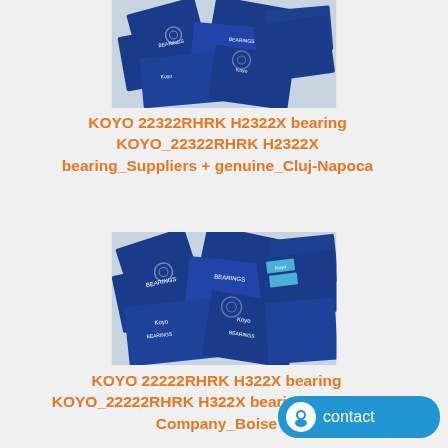[Figure (photo): Photo of multiple blue Koyo bearing boxes/packages scattered on a surface, viewed from above]
KOYO 22322RHRK H2322X bearing KOYO_22322RHRK H2322X bearing_Suppliers + genuine_Cluj-Napoca
[Figure (photo): Photo of multiple blue Koyo bearing boxes/packages scattered on a surface, viewed from above]
KOYO 22222RHRK H322X bearing KOYO_22222RHRK H322X bearing_on sale + Company_Boise